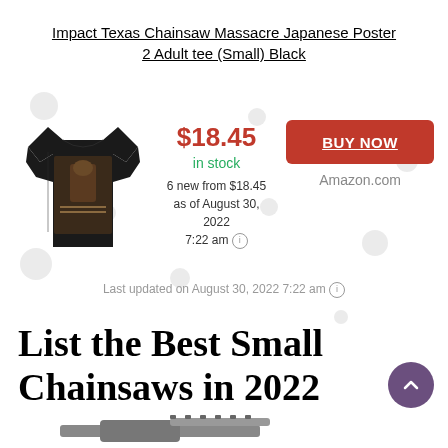Impact Texas Chainsaw Massacre Japanese Poster 2 Adult tee (Small) Black
[Figure (photo): Black t-shirt with Texas Chainsaw Massacre Japanese poster graphic]
$18.45
in stock
6 new from $18.45
as of August 30, 2022
7:22 am
BUY NOW
Amazon.com
Last updated on August 30, 2022 7:22 am
List the Best Small Chainsaws in 2022